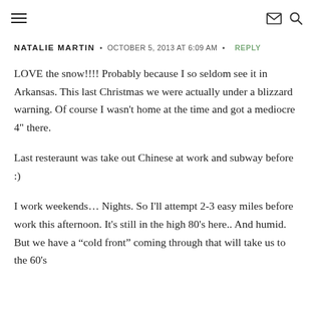≡  ✉ 🔍
NATALIE MARTIN • OCTOBER 5, 2013 AT 6:09 AM • REPLY
LOVE the snow!!!! Probably because I so seldom see it in Arkansas. This last Christmas we were actually under a blizzard warning. Of course I wasn't home at the time and got a mediocre 4" there.
Last resteraunt was take out Chinese at work and subway before :)
I work weekends… Nights. So I'll attempt 2-3 easy miles before work this afternoon. It's still in the high 80's here.. And humid. But we have a "cold front" coming through that will take us to the 60's